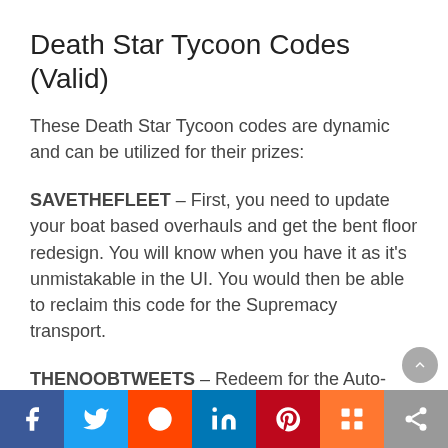Death Star Tycoon Codes (Valid)
These Death Star Tycoon codes are dynamic and can be utilized for their prizes:
SAVETHEFLEET – First, you need to update your boat based overhauls and get the bent floor redesign. You will know when you have it as it's unmistakable in the UI. You would then be able to reclaim this code for the Supremacy transport.
THENOOBTWEETS – Redeem for the Auto-Collect Bird. this robotizes the most common way of gathering pay from the center of your Death Star.